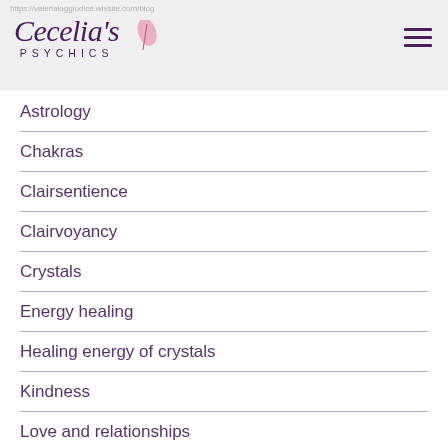https://valerialoggiodice.wixsite.com/blog
[Figure (logo): Cecelia's Psychics logo with decorative script font and pink feather, purple text PSYCHICS below]
Astrology
Chakras
Clairsentience
Clairvoyancy
Crystals
Energy healing
Healing energy of crystals
Kindness
Love and relationships